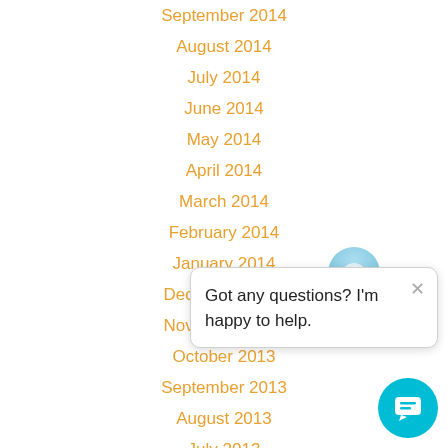September 2014
August 2014
July 2014
June 2014
May 2014
April 2014
March 2014
February 2014
January 2014
December 2013
November 2013
October 2013
September 2013
August 2013
July 2013
June 2013
May 2013
Got any questions? I'm happy to help.